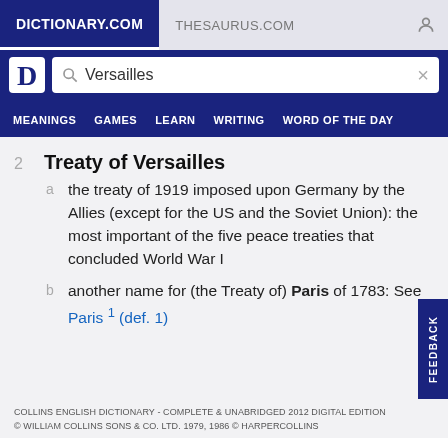DICTIONARY.COM | THESAURUS.COM
[Figure (screenshot): Dictionary.com logo (white D in shield) and search bar with 'Versailles' query]
MEANINGS  GAMES  LEARN  WRITING  WORD OF THE DAY
2  Treaty of Versailles
a  the treaty of 1919 imposed upon Germany by the Allies (except for the US and the Soviet Union): the most important of the five peace treaties that concluded World War I
b  another name for (the Treaty of) Paris of 1783: See Paris 1 (def. 1)
COLLINS ENGLISH DICTIONARY - COMPLETE & UNABRIDGED 2012 DIGITAL EDITION
© WILLIAM COLLINS SONS & CO. LTD. 1979, 1986 © HARPERCOLLINS